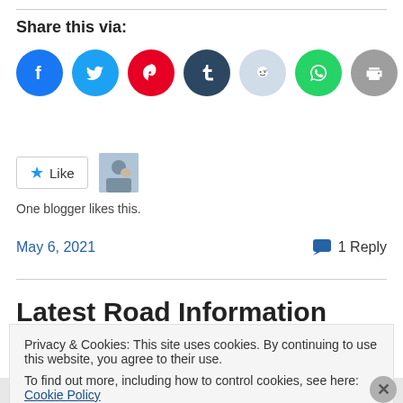Share this via:
[Figure (infographic): Row of social media sharing icon circles: Facebook (blue), Twitter (cyan), Pinterest (red), Tumblr (dark blue), Reddit (light blue), WhatsApp (green), Print (gray), Email (gray)]
[Figure (infographic): Like button with star icon and a small avatar photo of a person with a dog]
One blogger likes this.
May 6, 2021
1 Reply
Latest Road Information
Privacy & Cookies: This site uses cookies. By continuing to use this website, you agree to their use.
To find out more, including how to control cookies, see here: Cookie Policy